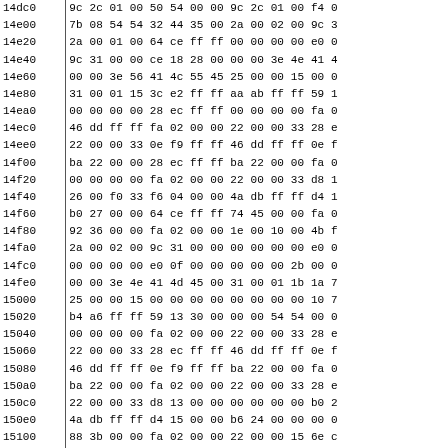| Address | Hex Data |
| --- | --- |
| 14dc0 | 9c 2c 01 00 50 54 00 00 9c 2c 01 00 f4 0 |
| 14e00 | 7b 08 54 54 32 44 35 00 2a 00 02 00 9c 3 |
| 14e20 | 2a 00 01 00 64 ce ff ff 00 00 00 00 e0 0 |
| 14e40 | 9c 31 00 00 ce 18 28 00 00 00 3e 4e 41 4 |
| 14e60 | 00 00 3e 56 41 4c 55 45 25 00 00 15 00 0 |
| 14e80 | 31 00 01 15 3c e2 ff ff aa ab ff ff 59 1 |
| 14ea0 | 00 00 00 00 28 ec ff ff 00 00 00 00 fa 0 |
| 14ec0 | 46 dd ff ff fa 02 00 00 22 00 00 33 28 e |
| 14ee0 | 22 00 00 33 0e f9 ff ff 46 dd ff ff 0e f |
| 14f00 | ba 22 00 00 28 ec ff ff ba 22 00 00 fa 0 |
| 14f20 | 00 00 00 00 fa 02 00 00 22 00 00 33 d8 1 |
| 14f40 | 26 00 f0 33 f6 04 00 00 4a db ff ff d4 1 |
| 14f60 | b0 27 00 00 64 ce ff ff 74 45 00 00 fa 0 |
| 14f80 | 92 36 00 00 fa 02 00 00 1e 00 10 00 4b f |
| 14fa0 | 2a 00 02 00 9c 31 00 00 00 00 00 00 e0 0 |
| 14fc0 | 00 00 00 00 e0 0f 00 00 00 00 00 2b 00 0 |
| 14fe0 | 00 00 3e 4e 41 4d 45 00 31 00 01 1b 1a 7 |
| 15000 | 25 00 00 15 00 00 00 00 00 00 00 00 10 7 |
| 15020 | b4 a6 ff ff 59 13 30 00 00 00 54 54 00 0 |
| 15040 | 00 00 00 00 fa 02 00 00 22 00 00 33 28 e |
| 15060 | 22 00 00 33 28 ec ff ff 46 dd ff ff 0e f |
| 15080 | 46 dd ff ff 0e f9 ff ff ba 22 00 00 fa 0 |
| 150a0 | ba 22 00 00 fa 02 00 00 22 00 00 33 28 e |
| 150c0 | 22 00 00 33 d8 13 00 00 00 00 00 00 b0 2 |
| 150e0 | 4a db ff ff d4 15 00 00 b6 24 00 00 00 0 |
| 15100 | 88 3b 00 00 fa 02 00 00 22 00 00 15 6e c |
| 15120 | 1e 00 19 00 37 ff 7d ff b5 00 02 02 00 7 |
| 15140 | 00 00 00 00 e0 0f 41 1f 00 00 00 2d 00 0 |
| 15160 | 00 00 00 2b 00 00 00 00 31 00 01 19 0e 7 |
| 15180 | 31 00 01 1b 74 45 00 00 ac a8 00 00 ce 1 |
| 151a0 | 7c 40 00 00 50 12 30 00 00 00 94 54 54 00 |